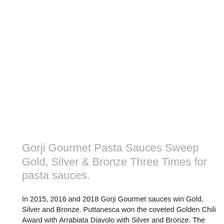Gorji Gourmet Pasta Sauces Sweep Gold, Silver & Bronze Three Times for pasta sauces.
In 2015, 2016 and 2018 Gorji Gourmet sauces win Gold, Silver and Bronze. Puttanesca won the coveted Golden Chili Award with Arrabiata Diavolo with Silver and Bronze...